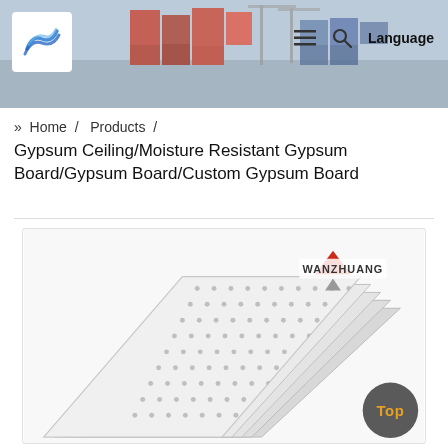[Figure (screenshot): Website header banner showing a shipping port/container yard background with a company logo (blue wave/ribbon design) on the left, and navigation icons (hamburger menu, search, Language) on the right.]
» Home / Products / Gypsum Ceiling/Moisture Resistant Gypsum Board/Gypsum Board/Custom Gypsum Board
[Figure (photo): Product photo showing multiple stacked perforated gypsum ceiling board panels arranged in a fan/layered display. A WANZHUANG brand logo is visible in the upper right area. A 'Top' button appears in the lower right corner.]